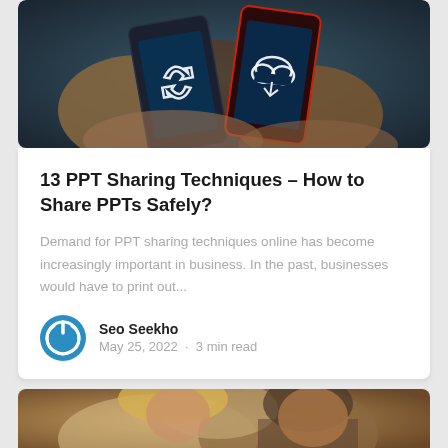[Figure (photo): Hands holding smartphones with sharing/cloud icons on screens, dark background]
13 PPT Sharing Techniques – How to Share PPTs Safely?
Demand for PPT sharing techniques online has become increasingly important in business. In the past, businesses would have to print out...
Seo Seekho
May 25, 2022 · 3 min read
[Figure (photo): Two people (a woman with blonde hair and a man with beard) looking at something, partial view]